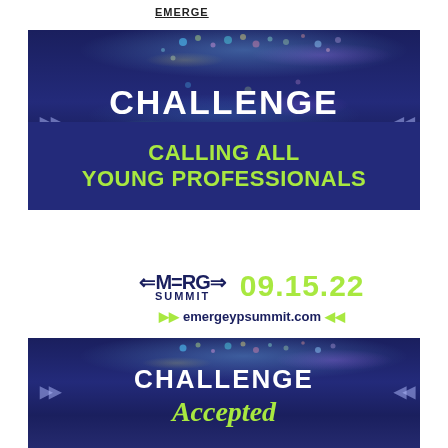[Figure (illustration): Emerge Summit 'Challenge Accepted' advertisement banner with dark navy background, colorful paint splatter effects, text 'CHALLENGE Accepted - CALLING ALL YOUNG PROFESSIONALS', Emerge Summit logo, date 09.15.22, and website emergeypsummit.com]
[Figure (illustration): Partial repeat of Emerge Summit 'Challenge Accepted' advertisement banner at bottom of page, showing the top portion with 'CHALLENGE Accepted' text on dark navy background with paint splatter effects]